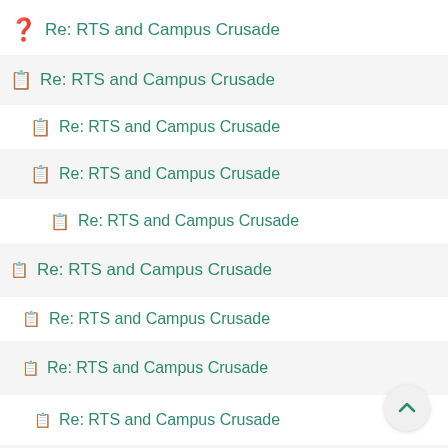Re: RTS and Campus Crusade
Re: RTS and Campus Crusade
Re: RTS and Campus Crusade
Re: RTS and Campus Crusade
Re: RTS and Campus Crusade
Re: RTS and Campus Crusade
Re: RTS and Campus Crusade
Re: RTS and Campus Crusade
Re: RTS and Campus Crusade
Re: RTS and Campus Crusade